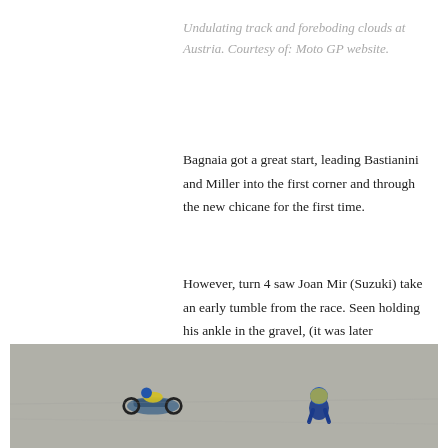Undulating track and foreboding clouds at Austria. Courtesy of: Moto GP website.
Bagnaia got a great start, leading Bastianini and Miller into the first corner and through the new chicane for the first time.
However, turn 4 saw Joan Mir (Suzuki) take an early tumble from the race. Seen holding his ankle in the gravel, (it was later confirmed that he had had medical checks and that he had broken his ankle. We wish him a speedy recovery).
[Figure (photo): Two riders on the track, one with a fallen motorcycle and another crouching on the ground after a crash at a MotoGP race in Austria.]